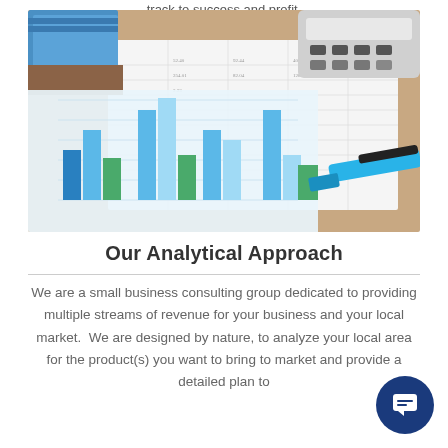track to success and profit.
[Figure (photo): Overhead photo of financial bar charts with blue and green bars on paper, alongside a calculator, notebooks, pen, and a blue highlighter on a desk.]
Our Analytical Approach
We are a small business consulting group dedicated to providing multiple streams of revenue for your business and your local market.  We are designed by nature, to analyze your local area for the product(s) you want to bring to market and provide a detailed plan to